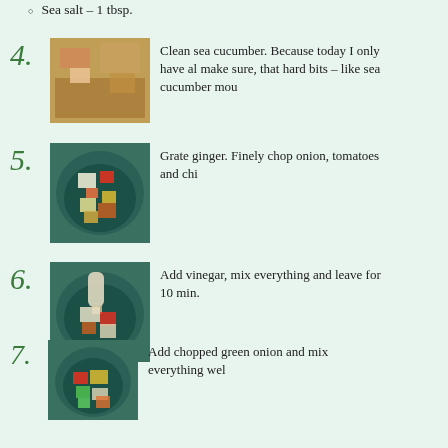Sea salt – 1 tbsp.
4. Clean sea cucumber. Because today I only have al... make sure, that hard bits – like sea cucumber mou...
5. Grate ginger. Finely chop onion, tomatoes and chi...
6. Add vinegar, mix everything and leave for 10 min...
7. Add chopped green onion and mix everything wel...
8. Serve and enjoy. As simple as that.